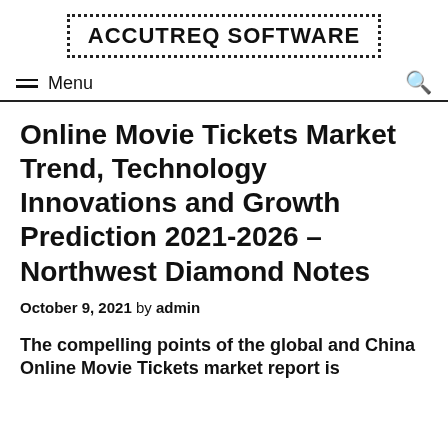ACCUTREQ SOFTWARE
≡ Menu  🔍
Online Movie Tickets Market Trend, Technology Innovations and Growth Prediction 2021-2026 – Northwest Diamond Notes
October 9, 2021 by admin
The compelling points of the global and China Online Movie Tickets market report is